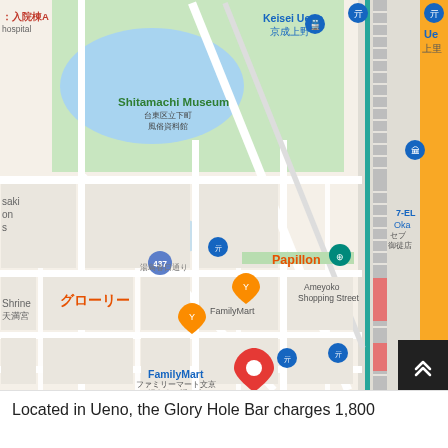[Figure (map): Google Maps screenshot showing the Ueno/Yushima area of Tokyo, Japan. Visible landmarks include Shitamachi Museum (台東区立下町風俗資料館), Keisei Ueno station (京成上野), FamilyMart locations, Papillon restaurant, グローリー (Glory), Okachimachi station (御徒町), Honey Trap, Lawson convenience store, 7-Eleven locations, Yushima (湯島), and a red location pin marking the Glory Hole Bar. A rail line runs along the right side of the map.]
Located in Ueno, the Glory Hole Bar charges 1,800...